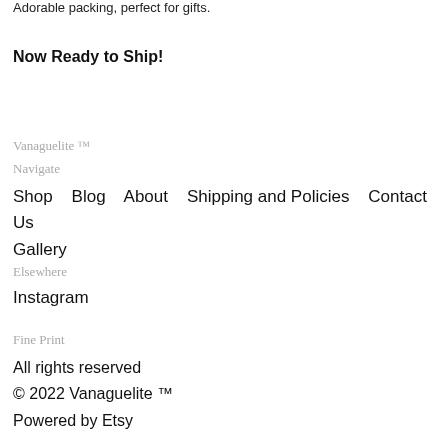Adorable packing, perfect for gifts.
Now Ready to Ship!
Vanaguelite ™
Navigate
Shop   Blog   About   Shipping and Policies   Contact Us
Gallery
Elsewhere
Instagram
Fine Print
All rights reserved
© 2022 Vanaguelite ™
Powered by Etsy